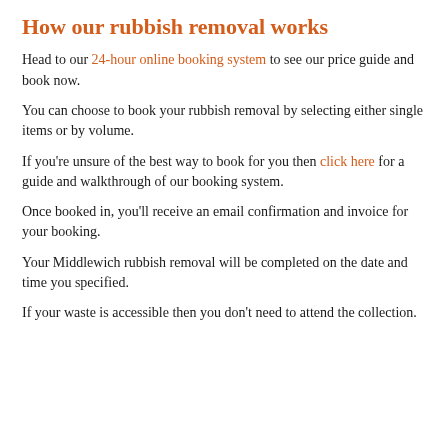How our rubbish removal works
Head to our 24-hour online booking system to see our price guide and book now.
You can choose to book your rubbish removal by selecting either single items or by volume.
If you're unsure of the best way to book for you then click here for a guide and walkthrough of our booking system.
Once booked in, you'll receive an email confirmation and invoice for your booking.
Your Middlewich rubbish removal will be completed on the date and time you specified.
If your waste is accessible then you don't need to attend the collection.